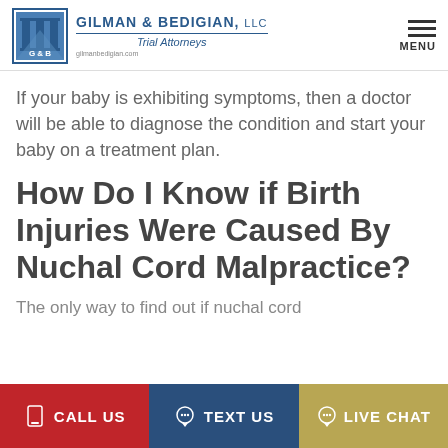GILMAN & BEDIGIAN, LLC Trial Attorneys | gilmanbedigian.com | MENU
If your baby is exhibiting symptoms, then a doctor will be able to diagnose the condition and start your baby on a treatment plan.
How Do I Know if Birth Injuries Were Caused By Nuchal Cord Malpractice?
The only way to find out if nuchal cord malpractice caused birth injuries is to call a happening look at the evidence and
CALL US | TEXT US | LIVE CHAT